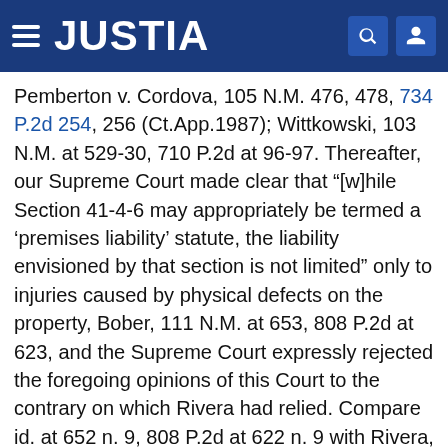JUSTIA
Pemberton v. Cordova, 105 N.M. 476, 478, 734 P.2d 254, 256 (Ct.App.1987); Wittkowski, 103 N.M. at 529-30, 710 P.2d at 96-97. Thereafter, our Supreme Court made clear that "[w]hile Section 41-4-6 may appropriately be termed a `premises liability' statute, the liability envisioned by that section is not limited" only to injuries caused by physical defects on the property, Bober, 111 N.M. at 653, 808 P.2d at 623, and the Supreme Court expressly rejected the foregoing opinions of this Court to the contrary on which Rivera had relied. Compare id. at 652 n. 9, 808 P.2d at 622 n. 9 with Rivera, 108 N.M. at 12, 765 P.2d at 1194. The crucial point for our analysis is that although Section 41-4-6 now waives tort immunity for a wider variety of negligent acts in the operation or maintenance of public property, the Section still includes the core principles of premises liability. Regardless of what also Section 41-4-6 might cover, it